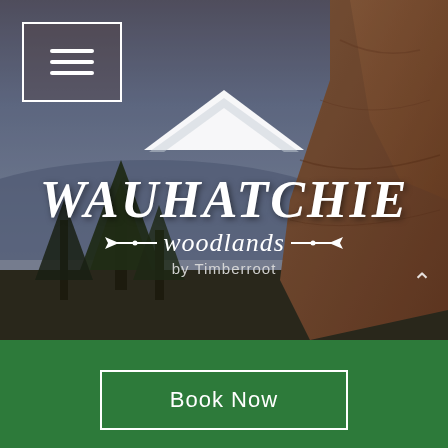[Figure (photo): Background photo of rocky landscape with trees and dusk sky, serving as backdrop for the Wauhatchie Woodlands logo]
[Figure (logo): Wauhatchie Woodlands by Timberroot logo — white tent/mountain shape above bold stylized text 'WAUHATCHIE' with arrow-decorated script 'woodlands' and subtitle 'by Timberroot']
Book Now